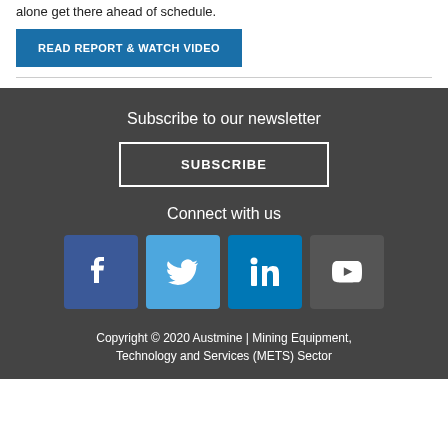alone get there ahead of schedule.
READ REPORT & WATCH VIDEO
Subscribe to our newsletter
SUBSCRIBE
Connect with us
[Figure (illustration): Social media icons: Facebook, Twitter, LinkedIn, YouTube]
Copyright © 2020 Austmine | Mining Equipment, Technology and Services (METS) Sector